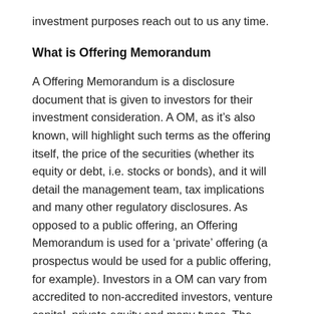investment purposes reach out to us any time.
What is Offering Memorandum
A Offering Memorandum is a disclosure document that is given to investors for their investment consideration. A OM, as it’s also known, will highlight such terms as the offering itself, the price of the securities (whether its equity or debt, i.e. stocks or bonds), and it will detail the management team, tax implications and many other regulatory disclosures. As opposed to a public offering, an Offering Memorandum is used for a ‘private’ offering (a prospectus would be used for a public offering, for example). Investors in a OM can vary from accredited to non-accredited investors, venture capital, private equity and many types. The Offering Memorandum is